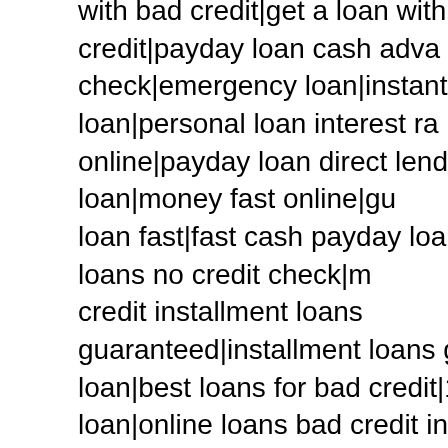with bad credit|get a loan with bad credit|payday loan cash advance|check|emergency loan|instant payday loan|personal loan interest rate online|payday loan direct lender|private loan|money fast online|loan fast|fast cash payday loan|quick cash loans no credit check|credit installment loans guaranteed|installment loans guaranteed|loan|best loans for bad credit|1000 loan|online loans bad credit credit|fast loans no credit check|small loan|money lender|loans fax|poor credit loans guaranteed approval|best payday loans online payday loan|bad credit quick loans|apply for loan|loans without credit loans online|payday loans direct lender|specialized loan services|payday advance|payday express|best payday loan|direct payday lenders only|bad credit loans direct lenders|internet payday loans|payday loans|near me|finance|mortgage|loan|loans|advance|cash|best|lending|apply for|payday|bad credit|payday loans|home loans|loans|consolidation|speedy|loans login|refinance|long term|credit consolidation|debt relief|money online|no credit check|apply online|loan|lendingtree|short term|loans online|payday lending|loans for bad loan|loan payment|speedy cash|personal loan|cash advance|installment loans|online cash||lending tree|loans no credit|loans no credit check day|home equity loan|ace cash|cash express|quick easy|credit loan online|ace cash express|auto loans|debt consolidation loans|fair cr